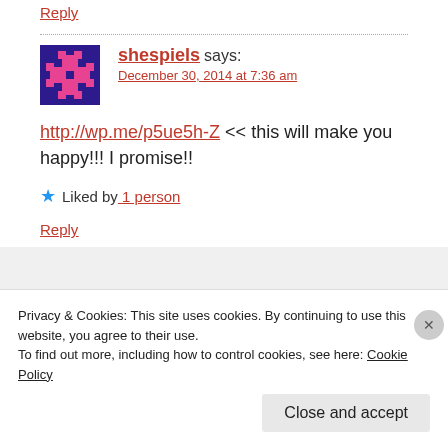Reply
shespiels says:
December 30, 2014 at 7:36 am
http://wp.me/p5ue5h-Z << this will make you happy!!! I promise!!
★ Liked by 1 person
Reply
Privacy & Cookies: This site uses cookies. By continuing to use this website, you agree to their use.
To find out more, including how to control cookies, see here: Cookie Policy